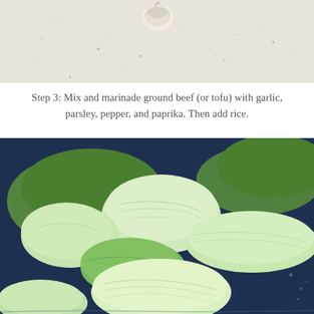[Figure (photo): Top portion of a photo showing a cutting board with garlic and scattered herbs/spices on a light surface]
Step 3: Mix and marinade ground beef (or tofu) with garlic, parsley, pepper, and paprika. Then add rice.
[Figure (photo): Photo of stuffed cabbage rolls arranged in a dark (navy blue) pan or pot, showing multiple cabbage rolls wrapped and packed closely together]